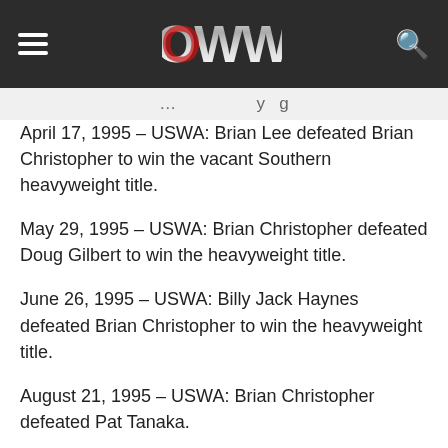OWW
April 17, 1995 – USWA: Brian Lee defeated Brian Christopher to win the vacant Southern heavyweight title.
May 29, 1995 – USWA: Brian Christopher defeated Doug Gilbert to win the heavyweight title.
June 26, 1995 – USWA: Billy Jack Haynes defeated Brian Christopher to win the heavyweight title.
August 21, 1995 – USWA: Brian Christopher defeated Pat Tanaka.
September 11, 1995 – USWA: Brian Christopher defeated Billy Jack Haynes to win the heavyweight title.
October 26, 1995 – USWA: Brian Christopher defeated Jesse James Armstrong to win the heavyweight title.
November 6, 1995 – USWA: Brian Christopher defeated Bob Armstrong to retain the heavyweight title.